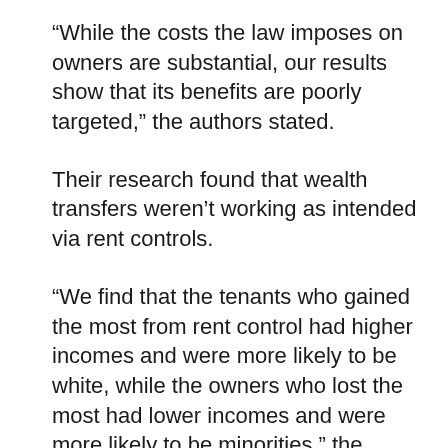“While the costs the law imposes on owners are substantial, our results show that its benefits are poorly targeted,” the authors stated.
Their research found that wealth transfers weren’t working as intended via rent controls.
“We find that the tenants who gained the most from rent control had higher incomes and were more likely to be white, while the owners who lost the most had lower incomes and were more likely to be minorities,” the report found.
Study by researchers at the University of